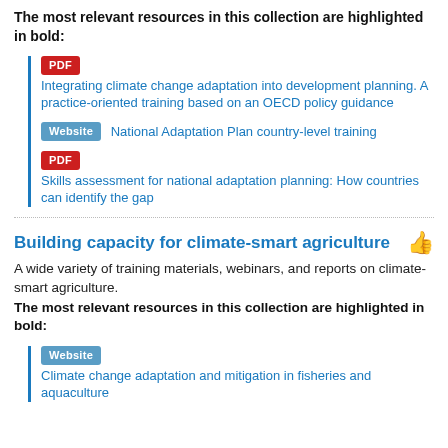The most relevant resources in this collection are highlighted in bold:
PDF — Integrating climate change adaptation into development planning. A practice-oriented training based on an OECD policy guidance
Website — National Adaptation Plan country-level training
PDF — Skills assessment for national adaptation planning: How countries can identify the gap
Building capacity for climate-smart agriculture
A wide variety of training materials, webinars, and reports on climate-smart agriculture.
The most relevant resources in this collection are highlighted in bold:
Website — Climate change adaptation and mitigation in fisheries and aquaculture